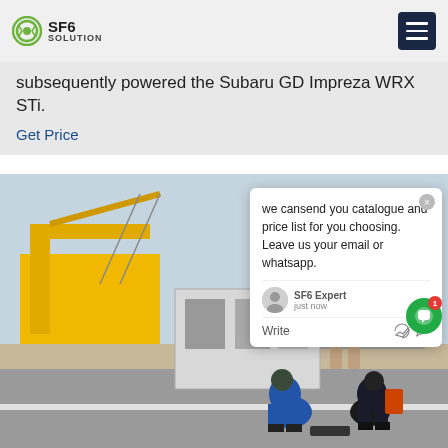SF6 SOLUTION
subsequently powered the Subaru GD Impreza WRX STi.
Get Price
[Figure (photo): Two workers in blue overalls crouching on a road surface near industrial electrical equipment, with a yellow crane truck and a white metal enclosure/box in the background at an industrial or substation site.]
we cansend you catalogue and price list for you choosing.
Leave us your email or whatsapp.